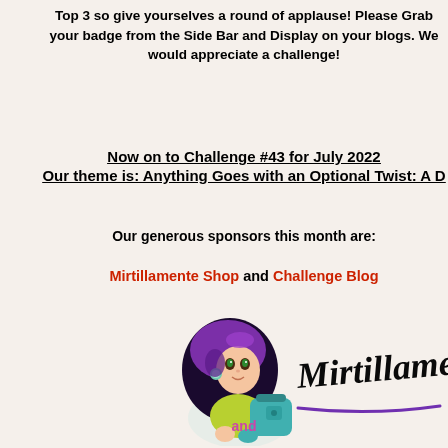Top 3 so give yourselves a round of applause!  Please Grab your badge from the Side Bar and Display on your blogs.  We would appreciate a challenge!
Now on to Challenge #43 for July 2022
Our theme is:  Anything Goes with an Optional Twist:  A D
Our generous sponsors this month are:
Mirtillamente Shop and Challenge Blog
[Figure (logo): Mirtillamente logo featuring a cartoon girl with purple hair holding a teal bag, with cursive Mirtillamente text and purple underline]
and